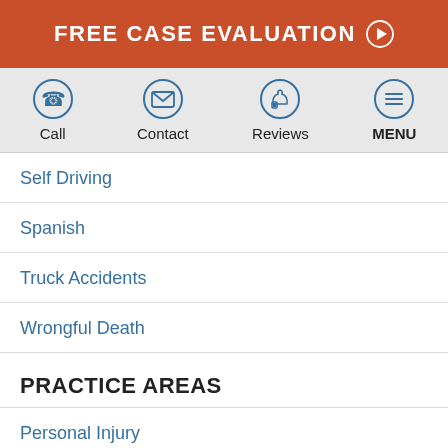FREE CASE EVALUATION
[Figure (infographic): Navigation bar with four icons: phone (Call), envelope (Contact), thumbs-up (Reviews), and menu (MENU)]
Self Driving
Spanish
Truck Accidents
Wrongful Death
PRACTICE AREAS
Personal Injury